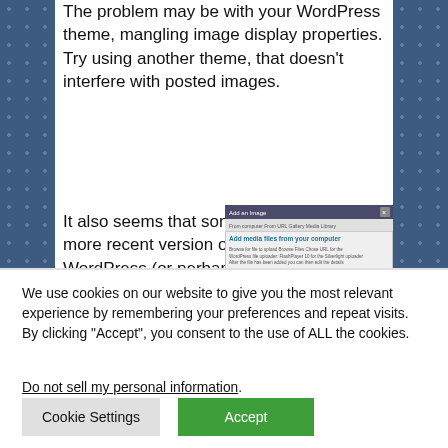The problem may be with your WordPress theme, mangling image display properties. Try using another theme, that doesn't interfere with posted images.
It also seems that some more recent version of WordPress (or perhaps the plugin is causing this in
[Figure (screenshot): Screenshot of WordPress 'Add media files from your computer' dialog showing an image of a lizard/gecko with file details and upload options]
We use cookies on our website to give you the most relevant experience by remembering your preferences and repeat visits. By clicking "Accept", you consent to the use of ALL the cookies.
Do not sell my personal information.